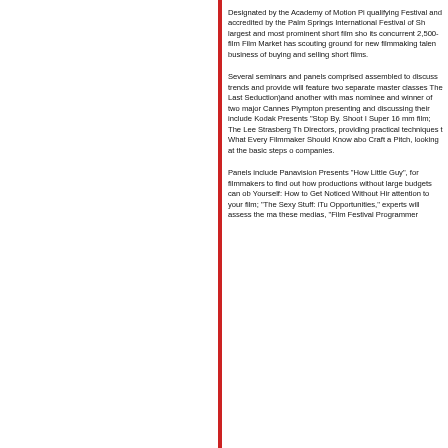Designated by the Academy of Motion Pi qualifying Festival and accredited by the Palm Springs International Festival of Sh largest and most prominent short film sho its concurrent 2,500-film Film Market has scouting ground for new filmmaking talen business of buying and selling short films.
Several seminars and panels comprised assembled to discuss trends and provide will feature two separate master classes The Last Seduction)and another with mas nominee and winner of two major Cannes Plympton presenting and discussing their include Kodak Presents "Stop By. Shoot I Super 16 mm film; The Lee Strasberg Th Directors, providing practical techniques t What Every Filmmaker Should Know abo Craft a Pitch, looking at the basic steps o companies.
Panels include Panavision Presents "How Little Guy", for filmmakers to find out how productions without large budgets can ob Yourself: How to Get Noticed Without Hir attention to your film; "The Sexy Stuff: iTu Opportunities," experts will assess the ma these medias, "Film Festival Programmer